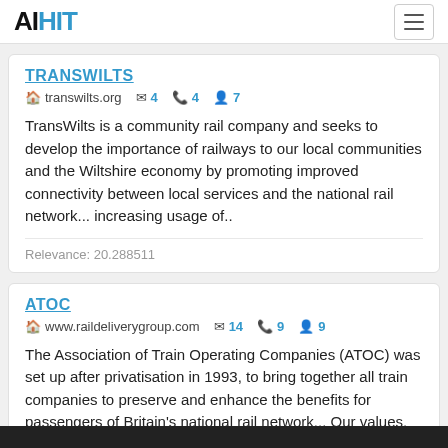AIHIT
TRANSWILTS
transwilts.org  4  4  7
TransWilts is a community rail company and seeks to develop the importance of railways to our local communities and the Wiltshire economy by promoting improved connectivity between local services and the national rail network... increasing usage of..
Relevance: 20.288511
ATOC
www.raildeliverygroup.com  14  9  9
The Association of Train Operating Companies (ATOC) was set up after privatisation in 1993, to bring together all train companies to preserve and enhance the benefits for passengers of Britain's national rail network... Our values, known as ASPIRE...